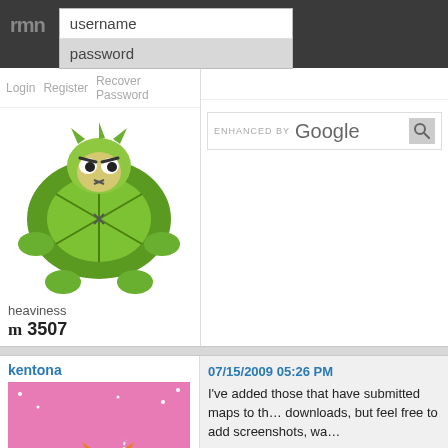[Figure (screenshot): Website header with logo 'rmn' and login form fields for username and password]
Login   Register   Recover Password
[Figure (illustration): Cartoon angry turtle character with green shell and spiky details]
heaviness
m 3507
[Figure (illustration): Google Enhanced By search bar]
kentona
[Figure (illustration): Cartoon image of Garfield-like cat sitting on a purple mountain in a pink alien landscape, smoking]
I am tired of Earth. These people. I am tired of being caught in the tangle of their lives.
m 20836
07/15/2009 05:26 PM
I've added those that have submitted maps to th… downloads, but feel free to add screenshots, wa…